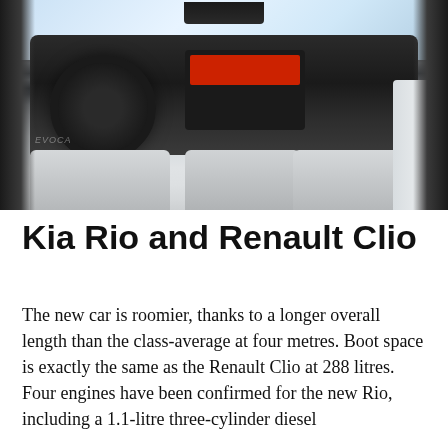[Figure (photo): Interior photo of a Kia Rio showing steering wheel, dashboard, infotainment system, and light grey seats]
Kia Rio and Renault Clio
The new car is roomier, thanks to a longer overall length than the class-average at four metres. Boot space is exactly the same as the Renault Clio at 288 litres. Four engines have been confirmed for the new Rio, including a 1.1-litre three-cylinder diesel